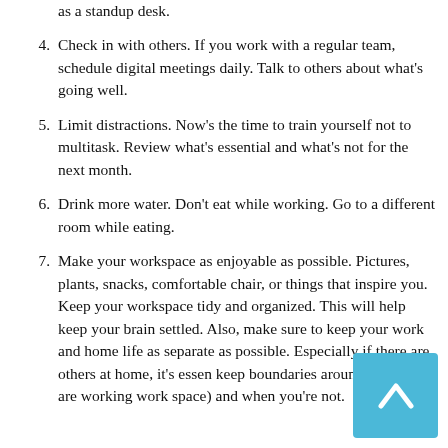as a standup desk.
4. Check in with others. If you work with a regular team, schedule digital meetings daily. Talk to others about what's going well.
5. Limit distractions. Now's the time to train yourself not to multitask. Review what's essential and what's not for the next month.
6. Drink more water. Don't eat while working. Go to a different room while eating.
7. Make your workspace as enjoyable as possible. Pictures, plants, snacks, comfortable chair, or things that inspire you. Keep your workspace tidy and organized. This will help keep your brain settled. Also, make sure to keep your work and home life as separate as possible. Especially if there are others at home, it's essen keep boundaries around when you are working work space) and when you're not.